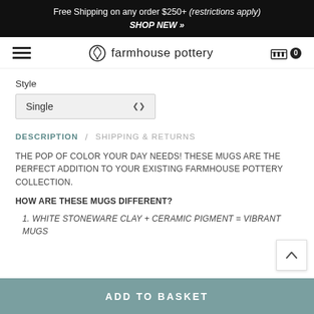Free Shipping on any order $250+ (restrictions apply)
SHOP NEW »
[Figure (logo): Farmhouse Pottery logo with circular leaf wreath icon and text 'farmhouse pottery']
Style
Single (dropdown selector)
DESCRIPTION / SHIPPING & RETURNS
THE POP OF COLOR YOUR DAY NEEDS! THESE MUGS ARE THE PERFECT ADDITION TO YOUR EXISTING FARMHOUSE POTTERY COLLECTION.
HOW ARE THESE MUGS DIFFERENT?
WHITE STONEWARE CLAY + CERAMIC PIGMENT = VIBRANT MUGS
ADD TO BASKET